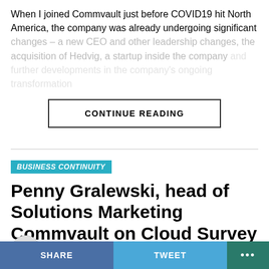When I joined Commvault just before COVID19 hit North America, the company was already undergoing significant changes – a new CEO and other leadership changes, the acquisition of Hedvig, a startup inside the company [faded text continues]
CONTINUE READING
BUSINESS CONTINUITY
Penny Gralewski, head of Solutions Marketing Commvault on Cloud Survey
Published 3 years agoon December 4, 2019 By Dez Blanchfield
SHARE   TWEET   ...